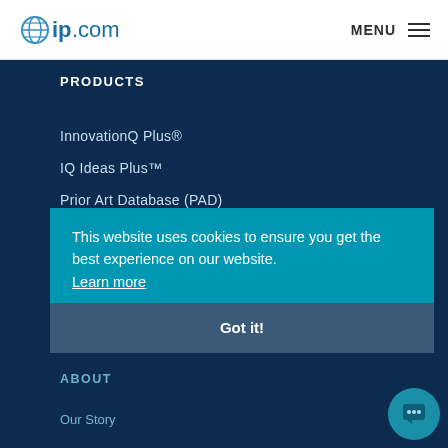ip.com | MENU
PRODUCTS
InnovationQ Plus®
IQ Ideas Plus™
Prior Art Database (PAD)
SERVICES
Education Services
Patent Analytics Services
Consulting Services
ABOUT
Our Story
This website uses cookies to ensure you get the best experience on our website. Learn more
Got it!